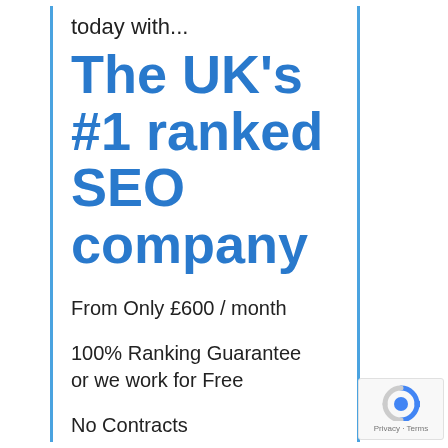today with...
The UK's #1 ranked SEO company
From Only £600 / month
100% Ranking Guarantee or we work for Free
No Contracts
[Figure (logo): reCAPTCHA logo with Privacy and Terms text]